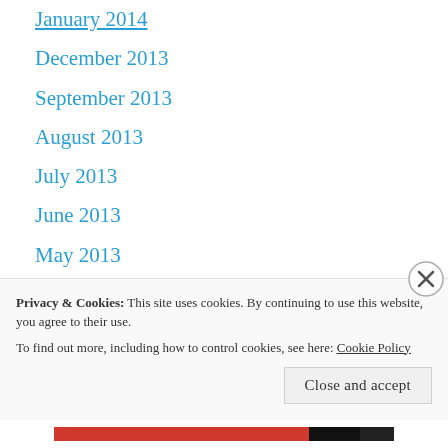January 2014
December 2013
September 2013
August 2013
July 2013
June 2013
May 2013
March 2013
February 2013
January 2013
Privacy & Cookies: This site uses cookies. By continuing to use this website, you agree to their use.
To find out more, including how to control cookies, see here: Cookie Policy
Close and accept